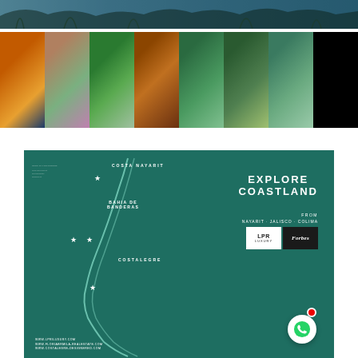[Figure (photo): Top banner aerial/nature photo with blue-green tones showing trees and water]
[Figure (photo): Row of 8 thumbnail photos showing: sunset over water, lakeside trees at dusk, aerial green islands, wooden interior with hammock, lake with silhouette, treehouse on water, mountain landscape, dark moon/night sky]
[Figure (map): Teal/green coastland map showing EXPLORE COASTLAND FROM NAYARIT JALISCO COLIMA with regions COSTA NAYARIT, BAHIA DE BANDERAS, COSTALEGRE marked and white stars at key locations. LPR Luxury and Forbes logos shown. WhatsApp button overlay. URLs at bottom: www.lpriluxury.com, www.floriabrmila-realestate.com, www.costalegre-designered.com]